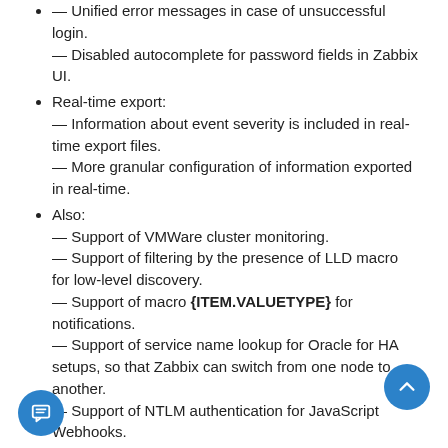— Unified error messages in case of unsuccessful login.
— Disabled autocomplete for password fields in Zabbix UI.
Real-time export:
— Information about event severity is included in real-time export files.
— More granular configuration of information exported in real-time.
Also:
— Support of VMWare cluster monitoring.
— Support of filtering by the presence of LLD macro for low-level discovery.
— Support of macro {ITEM.VALUETYPE} for notifications.
— Support of service name lookup for Oracle for HA setups, so that Zabbix can switch from one node to another.
— Support of NTLM authentication for JavaScript Webhooks.
— Support of multiple JMX metrics having the same key on one host.
— Increased size of memory available to